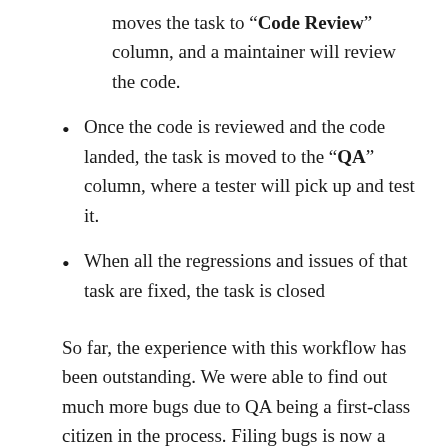moves the task to “Code Review” column, and a maintainer will review the code.
Once the code is reviewed and the code landed, the task is moved to the “QA” column, where a tester will pick up and test it.
When all the regressions and issues of that task are fixed, the task is closed
So far, the experience with this workflow has been outstanding. We were able to find out much more bugs due to QA being a first-class citizen in the process. Filing bugs is now a breeze too! There are bug templates already available, and I took the burden and made a colossal cleanup and organization of the bug